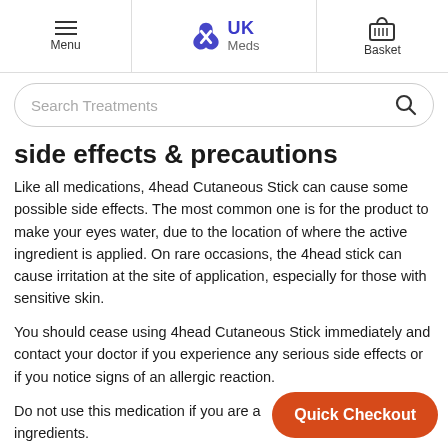Menu | UK Meds | Basket
[Figure (screenshot): UK Meds website header with hamburger menu, UK Meds logo, and basket icon]
Search Treatments
Side effects & precautions
Like all medications, 4head Cutaneous Stick can cause some possible side effects. The most common one is for the product to make your eyes water, due to the location of where the active ingredient is applied. On rare occasions, the 4head stick can cause irritation at the site of application, especially for those with sensitive skin.
You should cease using 4head Cutaneous Stick immediately and contact your doctor if you experience any serious side effects or if you notice signs of an allergic reaction.
Do not use this medication if you are a… ingredients.